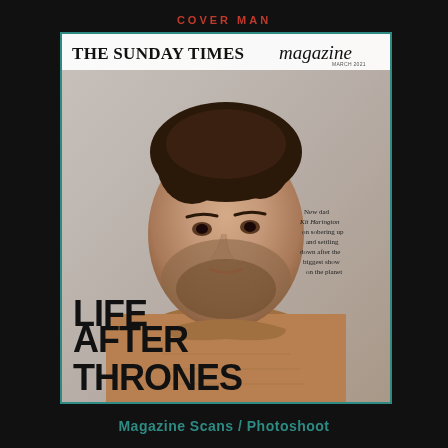COVER MAN
[Figure (photo): Magazine cover of The Sunday Times Magazine featuring a man (Kit Harington) in a brown knit sweater against a grey background, with headline 'LIFE AFTER THRONES' and sidebar text 'New dad Kit Harington on sobering up and settling down after the biggest show on the planet']
Magazine Scans / Photoshoot